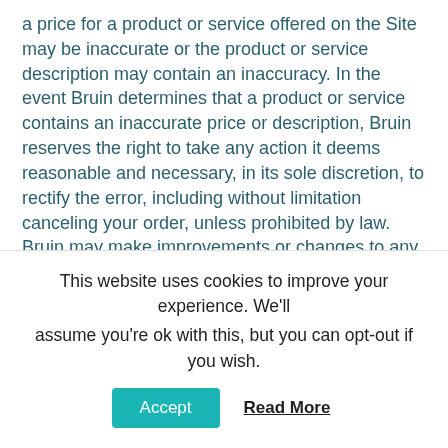a price for a product or service offered on the Site may be inaccurate or the product or service description may contain an inaccuracy. In the event Bruin determines that a product or service contains an inaccurate price or description, Bruin reserves the right to take any action it deems reasonable and necessary, in its sole discretion, to rectify the error, including without limitation canceling your order, unless prohibited by law. Bruin may make improvements or changes to any of its content, information products, services, or programs described on the Sites at any time without notice. You agree to notify Bruin immediately if you become aware of any pricing or descriptive errors or inconsistencies with any products or services you order through the Sites and comply with any corrective action taken by Bruin. You agree to use the pricing information on the Sites solely for purposes of
This website uses cookies to improve your experience. We'll assume you're ok with this, but you can opt-out if you wish.